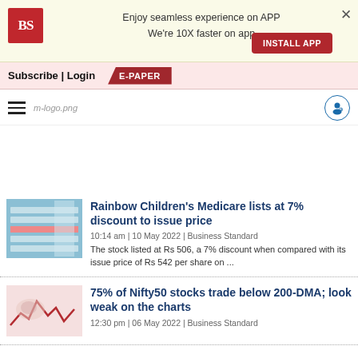Enjoy seamless experience on APP We're 10X faster on app INSTALL APP
Subscribe | Login E-PAPER
[Figure (logo): m-logo.png site logo and hamburger menu]
Rainbow Children's Medicare lists at 7% discount to issue price
10:14 am | 10 May 2022 | Business Standard
The stock listed at Rs 506, a 7% discount when compared with its issue price of Rs 542 per share on ...
75% of Nifty50 stocks trade below 200-DMA; look weak on the charts
12:30 pm | 06 May 2022 | Business Standard